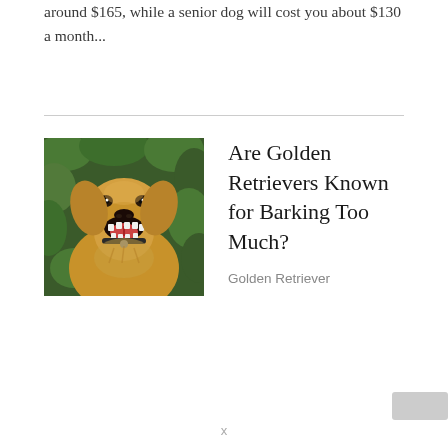around $165, while a senior dog will cost you about $130 a month...
[Figure (photo): A golden retriever dog with mouth open, appearing to bark or pant, photographed outdoors against a green leafy background.]
Are Golden Retrievers Known for Barking Too Much?
Golden Retriever